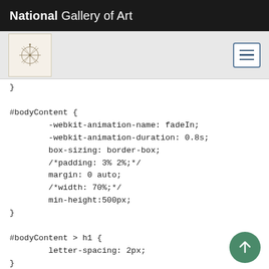National Gallery of Art
[Figure (screenshot): Navigation bar with art thumbnail and hamburger menu]
}

#bodyContent {
        -webkit-animation-name: fadeIn;
        -webkit-animation-duration: 0.8s;
        box-sizing: border-box;
        /*padding: 3% 2%;*/
        margin: 0 auto;
        /*width: 70%;*/
        min-height:500px;
}

#bodyContent > h1 {
        letter-spacing: 2px;
}

#bodyContent p, #bodyContent dd, #bodyContent